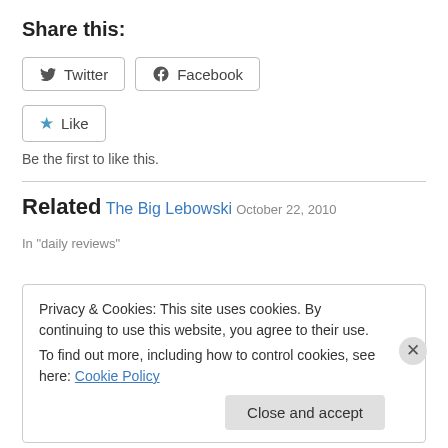Share this:
[Figure (other): Social share buttons: Twitter and Facebook]
[Figure (other): Like button with star icon]
Be the first to like this.
Related
The Big Lebowski
October 22, 2010
In "daily reviews"
Privacy & Cookies: This site uses cookies. By continuing to use this website, you agree to their use.
To find out more, including how to control cookies, see here: Cookie Policy